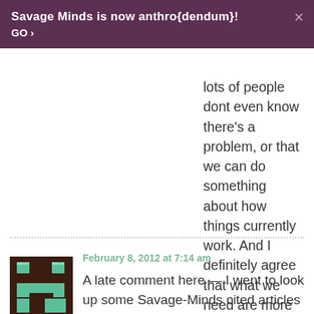Savage Minds is now anthro{dendum}! GO >
lots of people dont even know theres a problem, or that we can do something about how things currently work. And I definitely agree that what we need are more sites/projects like HAU.
February 8, 2012 at 7:14 am
[Figure (illustration): Pixel art avatar with brown background and teal/green geometric H-like shape]
Celia Em.
A late comment here — I went to look up some Savage-Minds cited articles on AnthroSource, and realized that when I read and cite these, I'm perpetuating the open-access problem. But there's no easy way to